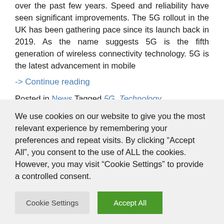over the past few years. Speed and reliability have seen significant improvements. The 5G rollout in the UK has been gathering pace since its launch back in 2019. As the name suggests 5G is the fifth generation of wireless connectivity technology. 5G is the latest advancement in mobile
-> Continue reading
Posted in News Tagged 5G, Technology
We use cookies on our website to give you the most relevant experience by remembering your preferences and repeat visits. By clicking "Accept All", you consent to the use of ALL the cookies. However, you may visit "Cookie Settings" to provide a controlled consent.